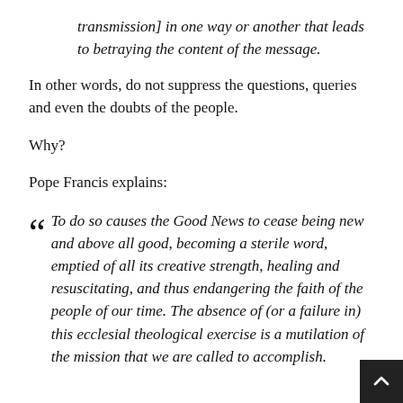transmission] in one way or another that leads to betraying the content of the message.
In other words, do not suppress the questions, queries and even the doubts of the people.
Why?
Pope Francis explains:
To do so causes the Good News to cease being new and above all good, becoming a sterile word, emptied of all its creative strength, healing and resuscitating, and thus endangering the faith of the people of our time. The absence of (or a failure in) this ecclesial theological exercise is a mutilation of the mission that we are called to accomplish.